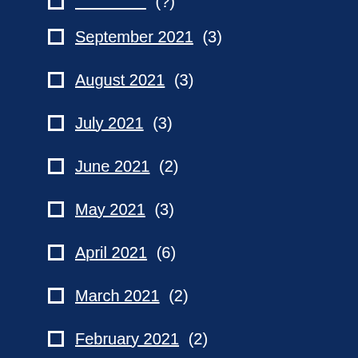September 2021 (3)
August 2021 (3)
July 2021 (3)
June 2021 (2)
May 2021 (3)
April 2021 (6)
March 2021 (2)
February 2021 (2)
January 2021 (2)